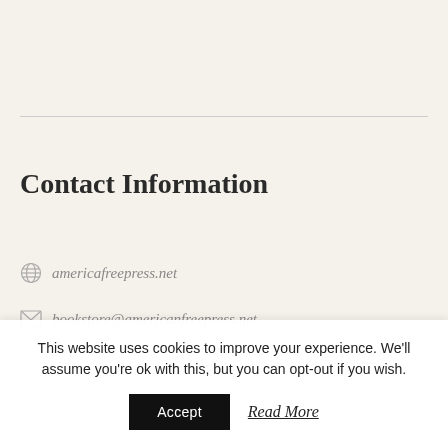Contact Information
americafreepress.net
bookstore@americanfreepress.net
This website uses cookies to improve your experience. We'll assume you're ok with this, but you can opt-out if you wish.
Accept
Read More